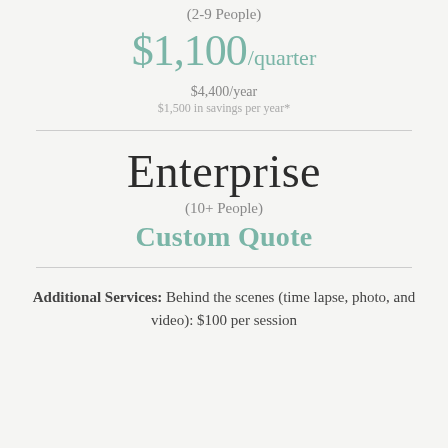(2-9 People)
$1,100/quarter
$4,400/year
$1,500 in savings per year*
Enterprise
(10+ People)
Custom Quote
Additional Services: Behind the scenes (time lapse, photo, and video): $100 per session